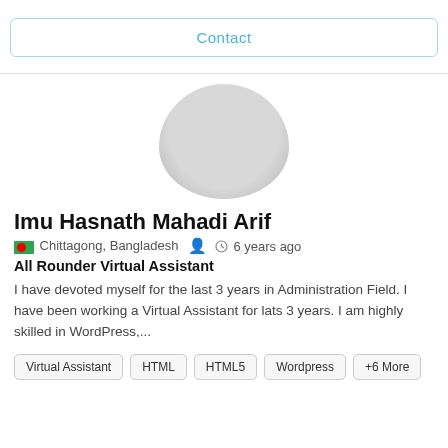Contact
[Figure (illustration): Circular grey avatar/profile placeholder silhouette]
Imu Hasnath Mahadi Arif
Chittagong, Bangladesh   6 years ago
All Rounder Virtual Assistant
I have devoted myself for the last 3 years in Administration Field. I have been working a Virtual Assistant for lats 3 years. I am highly skilled in WordPress,...
Virtual Assistant
HTML
HTML5
Wordpress
+6 More